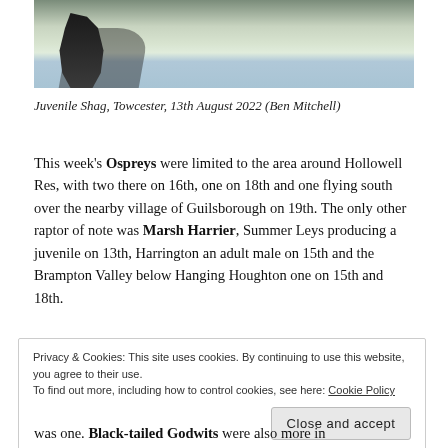[Figure (photo): Photograph of a juvenile shag bird standing on rocks near water, with reflections visible in the water background.]
Juvenile Shag, Towcester, 13th August 2022 (Ben Mitchell)
This week's Ospreys were limited to the area around Hollowell Res, with two there on 16th, one on 18th and one flying south over the nearby village of Guilsborough on 19th. The only other raptor of note was Marsh Harrier, Summer Leys producing a juvenile on 13th, Harrington an adult male on 15th and the Brampton Valley below Hanging Houghton one on 15th and 18th.
Privacy & Cookies: This site uses cookies. By continuing to use this website, you agree to their use.
To find out more, including how to control cookies, see here: Cookie Policy
was one. Black-tailed Godwits were also more in